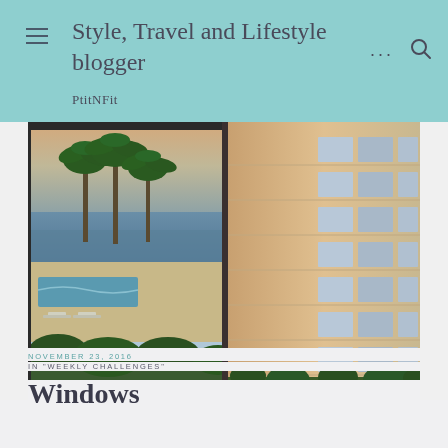Style, Travel and Lifestyle blogger
PtitNFit
[Figure (photo): Hotel exterior view split into two panels: left side shows palm trees, ocean/sea view with beach chairs and pool area at dusk; right side shows close-up of white hotel building facade with grid of windows and balconies, warm sunset light.]
NOVEMBER 23, 2016
IN "WEEKLY CHALLENGES"
Windows